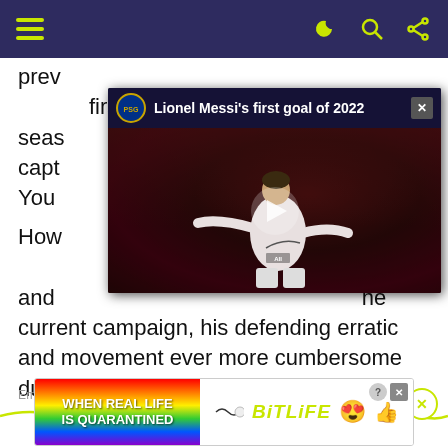Navigation bar with hamburger menu and icons
prev... first seas... he capt... ey You...
[Figure (screenshot): Video overlay showing 'Lionel Messi's first goal of 2022' with PSG badge, close button, and video thumbnail of Messi celebrating in PSG away kit with play button]
How... and ...he current campaign, his defending erratic and movement ever more cumbersome during a torrid season to date.
Embed from Getty Images
[Figure (screenshot): Advertisement banner: WHEN REAL LIFE IS QUARANTINED BitLife with colorful background and emoji characters]